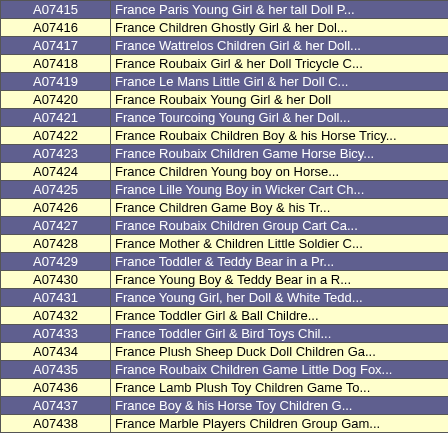| ID | Description |
| --- | --- |
| A07415 | France Paris Young Girl & her tall Doll P... |
| A07416 | France Children Ghostly Girl & her Dol... |
| A07417 | France Wattrelos Children Girl & her Doll... |
| A07418 | France Roubaix Girl & her Doll Tricycle C... |
| A07419 | France Le Mans Little Girl & her Doll C... |
| A07420 | France Roubaix Young Girl & her Doll... |
| A07421 | France Tourcoing Young Girl & her Doll... |
| A07422 | France Roubaix Children Boy & his Horse Tricy... |
| A07423 | France Roubaix Children Game Horse Bicy... |
| A07424 | France Children Young boy on Horse... |
| A07425 | France Lille Young Boy in Wicker Cart Ch... |
| A07426 | France Children Game Boy & his Tr... |
| A07427 | France Roubaix Children Group Cart Ca... |
| A07428 | France Mother & Children Little Soldier C... |
| A07429 | France Toddler & Teddy Bear in a Pr... |
| A07430 | France Young Boy & Teddy Bear in a R... |
| A07431 | France Young Girl, her Doll & White Tedd... |
| A07432 | France Toddler Girl & Ball Childre... |
| A07433 | France Toddler Girl & Bird Toys Chil... |
| A07434 | France Plush Sheep Duck Doll Children Ga... |
| A07435 | France Roubaix Children Game Little Dog Fox... |
| A07436 | France Lamb Plush Toy Children Game To... |
| A07437 | France Boy & his Horse Toy Children G... |
| A07438 | France Marble Players Children Group Gam... |